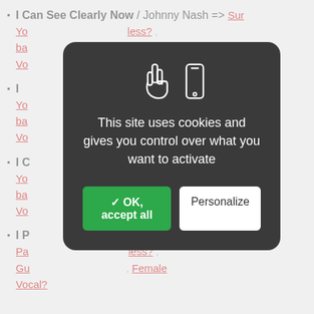I Can See Clearly Now / Johnny Nash => Surprise You? , bass, Male Vocal?
I [obscured] => Surprise You? , bass, Male Vocal?
I C[obscured]t => Surprise You? , bass, Male Vocal?
I P[obscured] YouTube, Pa[obscured]less? , Gu[obscured], Female Vocal?
[Figure (screenshot): Cookie consent modal dialog with dark rounded background, hand and phone icons, text 'This site uses cookies and gives you control over what you want to activate', green 'OK, accept all' button and white 'Personalize' button]